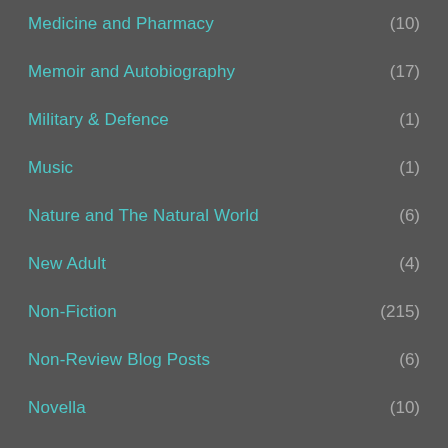Medicine and Pharmacy (10)
Memoir and Autobiography (17)
Military & Defence (1)
Music (1)
Nature and The Natural World (6)
New Adult (4)
Non-Fiction (215)
Non-Review Blog Posts (6)
Novella (10)
P S Publishing Freebie (1)